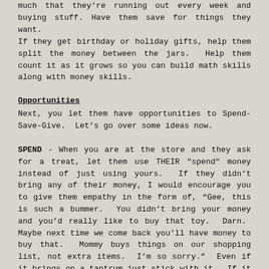much that they're running out every week and buying stuff. Have them save for things they want.
If they get birthday or holiday gifts, help them split the money between the jars. Help them count it as it grows so you can build math skills along with money skills.
Opportunities
Next, you let them have opportunities to Spend-Save-Give. Let's go over some ideas now.
SPEND - When you are at the store and they ask for a treat, let them use THEIR "spend" money instead of just using yours. If they didn't bring any of their money, I would encourage you to give them empathy in the form of, “Gee, this is such a bummer. You didn’t bring your money and you’d really like to buy that toy. Darn. Maybe next time we come back you’ll have money to buy that. Mommy buys things on our shopping list, not extra items. I’m so sorry.” Even if it brings on a tantrum just stick with it. If it brings on whining try, “And what did I say?” Your child is learning that money doesn’t grow on trees, that you have to have some and have it with you if you want “stuff”.